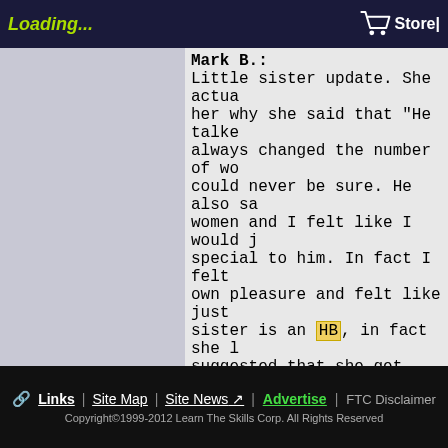Loading... | Store
Mark B.:
Little sister update. She actua her why she said that "He talke always changed the number of wo could never be sure. He also sa women and I felt like I would j special to him. In fact I felt own pleasure and felt like just sister is an HB, in fact she l suggested that she get into the reluctant to do as such. But be with men fulfilling her needs. her unfulfilled needs and here
- I need a guy who will take ch to do but be more assertive in is off me
- I need a guy who tells me wha it out
- I need a guy who will focus j special that way that I am the
- I need a guy that I can talk advice as to what to do and whe
- I need someone who will under say
- I need someone who likes to h as every style
- My biggest complaint about me
Links | Site Map | Site News | Advertise | FTC Disclaimer
Copyright©1999-2012 Learn The Skills Corp. All Rights Reserved